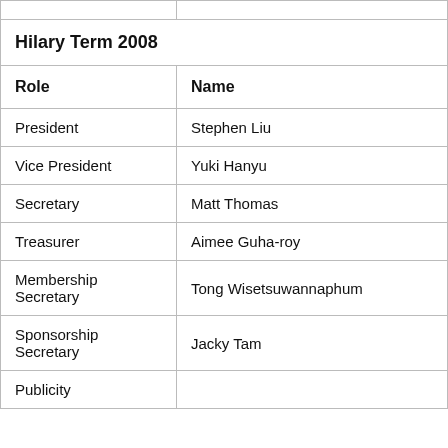| Role | Name |
| --- | --- |
| President | Stephen Liu |
| Vice President | Yuki Hanyu |
| Secretary | Matt Thomas |
| Treasurer | Aimee Guha-roy |
| Membership Secretary | Tong Wisetsuwannaphum |
| Sponsorship Secretary | Jacky Tam |
| Publicity |  |